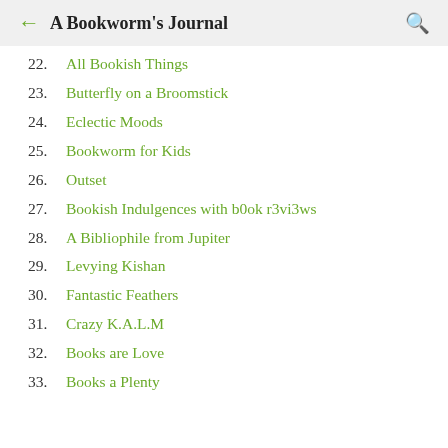A Bookworm's Journal
22. All Bookish Things
23. Butterfly on a Broomstick
24. Eclectic Moods
25. Bookworm for Kids
26. Outset
27. Bookish Indulgences with b0ok r3vi3ws
28. A Bibliophile from Jupiter
29. Levying Kishan
30. Fantastic Feathers
31. Crazy K.A.L.M
32. Books are Love
33. Books a Plenty